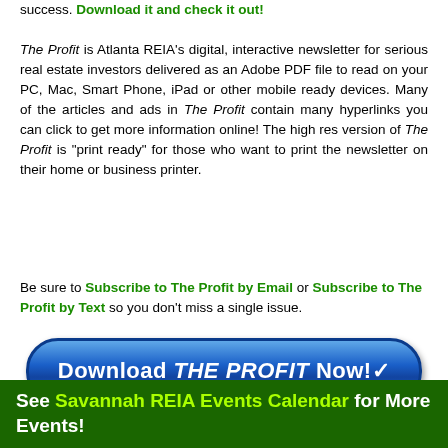success. Download it and check it out!
The Profit is Atlanta REIA's digital, interactive newsletter for serious real estate investors delivered as an Adobe PDF file to read on your PC, Mac, Smart Phone, iPad or other mobile ready devices. Many of the articles and ads in The Profit contain many hyperlinks you can click to get more information online! The high res version of The Profit is "print ready" for those who want to print the newsletter on their home or business printer.
Be sure to Subscribe to The Profit by Email or Subscribe to The Profit by Text so you don't miss a single issue.
[Figure (other): Blue rounded rectangle button with white bold text: Download THE PROFIT Now! with a cursor icon]
High Quality PDF / Low Res PDF
See Savannah REIA Events Calendar for More Events!